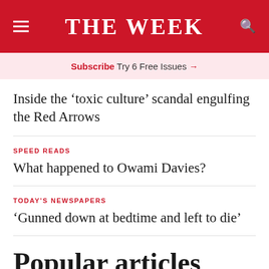THE WEEK
Subscribe Try 6 Free Issues →
Inside the ‘toxic culture’ scandal engulfing the Red Arrows
SPEED READS
What happened to Owami Davies?
TODAY’S NEWSPAPERS
‘Gunned down at bedtime and left to die’
Popular articles